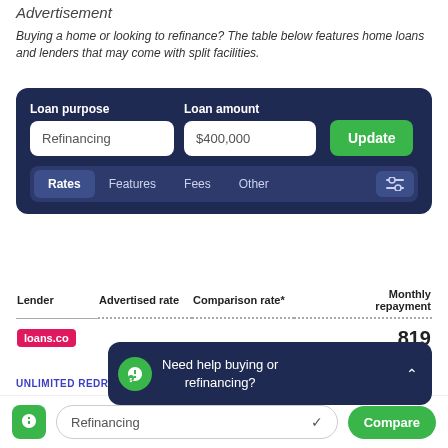Advertisement
Buying a home or looking to refinance? The table below features home loans and lenders that may come with split facilities.
[Figure (screenshot): Loan filter widget with dark blue background. Fields: Loan purpose (Refinancing), Loan amount ($400,000), Update button (green). Tabs: Rates (active), Features, Fees, Other, filter icon.]
| Lender | Advertised rate | Comparison rate* | Monthly repayment |
| --- | --- | --- | --- |
| loans.co... |  |  | 819 |
UNLIMITED REDRAWS
[Figure (screenshot): Popup overlay: 'Need help buying or refinancing?' with green icon and close arrow.]
Refinancing  Compare